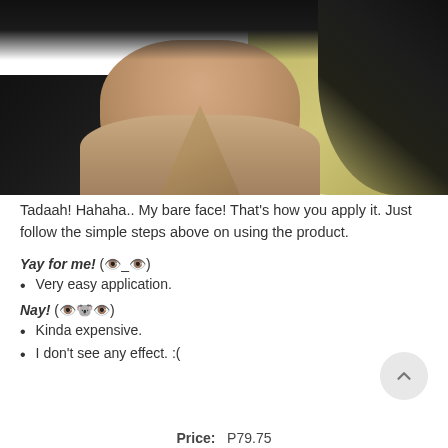[Figure (photo): Close-up photo of a woman with dark hair, wearing a dark jacket, showing her bare face and neck against a tan/olive background]
Tadaah! Hahaha.. My bare face! That’s how you apply it. Just follow the simple steps above on using the product.
Yay for me! (👁️_👁️)
Very easy application.
Nay! (👁️👄👁️)
Kinda expensive.
I don’t see any effect. :(
Price:   P79.75